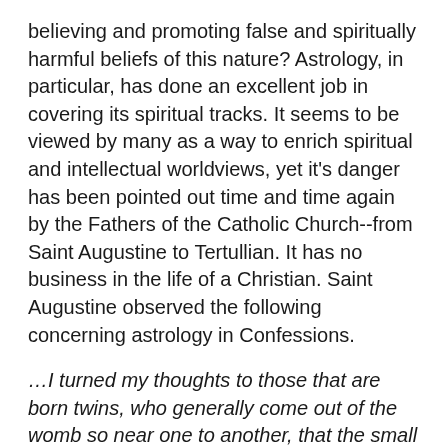believing and promoting false and spiritually harmful beliefs of this nature? Astrology, in particular, has done an excellent job in covering its spiritual tracks. It seems to be viewed by many as a way to enrich spiritual and intellectual worldviews, yet it's danger has been pointed out time and time again by the Fathers of the Catholic Church--from Saint Augustine to Tertullian. It has no business in the life of a Christian. Saint Augustine observed the following concerning astrology in Confessions.
…I turned my thoughts to those that are born twins, who generally come out of the womb so near one to another, that the small distance of time between them– how much force soever they may contend that it has in the nature of things– cannot be noted by human observation, or be expressed in those figures which the astrologer is to examine that he may pronounce the truth. Nor are they short of declaring into the